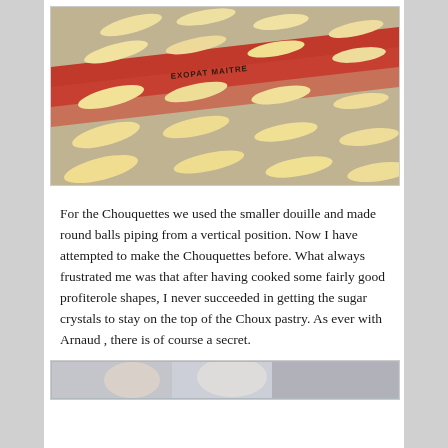[Figure (photo): Unbaked choux pastry finger-shaped pieces piped on a baking sheet lined with a red silicone mat labeled EXOPAT MAITRE, photographed from above at an angle.]
For the Chouquettes we used the smaller douille and made round balls piping from a vertical position. Now I have attempted to make the Chouquettes before. What always frustrated me was that after having cooked some fairly good profiterole shapes, I never succeeded in getting the sugar crystals to stay on the top of the Choux pastry. As ever with Arnaud , there is of course a secret.
[Figure (photo): Partial view of a second photo, mostly obscured, showing blurred figures.]